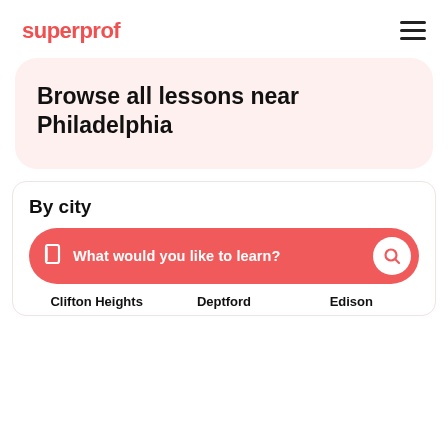superprof
Browse all lessons near Philadelphia
By city
What would you like to learn?
Clifton Heights
Deptford
Edison